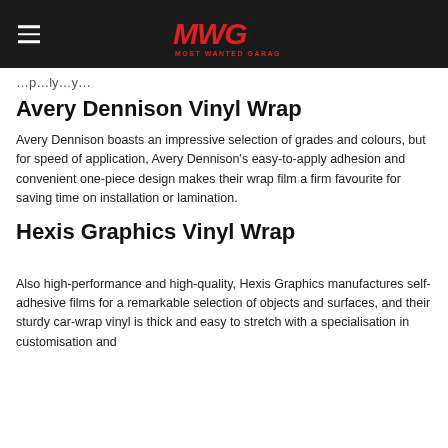MWG - Most Wanted Garage
…apply…apply…
Avery Dennison Vinyl Wrap
Avery Dennison boasts an impressive selection of grades and colours, but for speed of application, Avery Dennison's easy-to-apply adhesion and convenient one-piece design makes their wrap film a firm favourite for saving time on installation or lamination.
Hexis Graphics Vinyl Wrap
Also high-performance and high-quality, Hexis Graphics manufactures self-adhesive films for a remarkable selection of objects and surfaces, and their sturdy car-wrap vinyl is thick and easy to stretch with a specialisation in customisation and